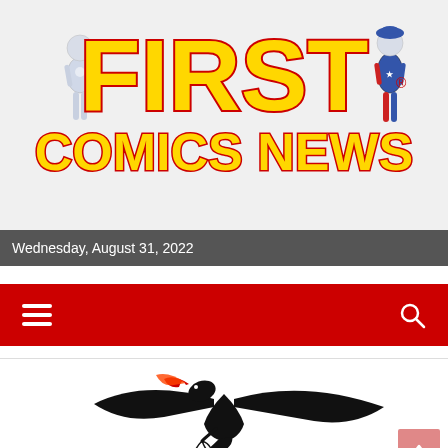[Figure (logo): First Comics News banner logo with two superhero characters flanking large yellow text 'FIRST COMICS NEWS' on white background]
Wednesday, August 31, 2022
[Figure (other): Red navigation bar with hamburger menu icon on left and search icon on right]
[Figure (illustration): Nescom or similar publisher logo featuring a black dragon breathing red fire, with large partially visible text letters below on white background]